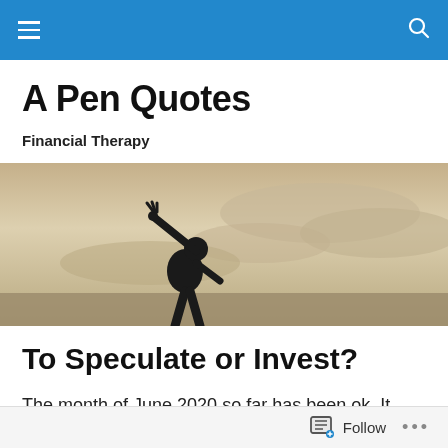Navigation bar with menu and search icons
A Pen Quotes
Financial Therapy
[Figure (photo): Sepia-toned silhouette of a person with arm raised against a cloudy sky]
To Speculate or Invest?
The month of June 2020 so far has been ok. It wasn't as volatile as the previous months (but not as good – trending
Follow  ...